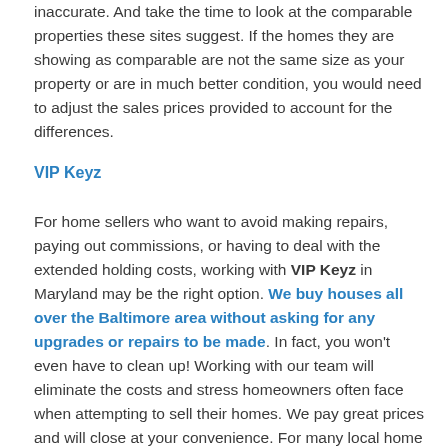inaccurate. And take the time to look at the comparable properties these sites suggest. If the homes they are showing as comparable are not the same size as your property or are in much better condition, you would need to adjust the sales prices provided to account for the differences.
VIP Keyz
For home sellers who want to avoid making repairs, paying out commissions, or having to deal with the extended holding costs, working with VIP Keyz in Maryland may be the right option. We buy houses all over the Baltimore area without asking for any upgrades or repairs to be made. In fact, you won't even have to clean up! Working with our team will eliminate the costs and stress homeowners often face when attempting to sell their homes. We pay great prices and will close at your convenience. For many local home sellers, working with We Buy Houses Fast in Maryland to sell their unwanted homes...